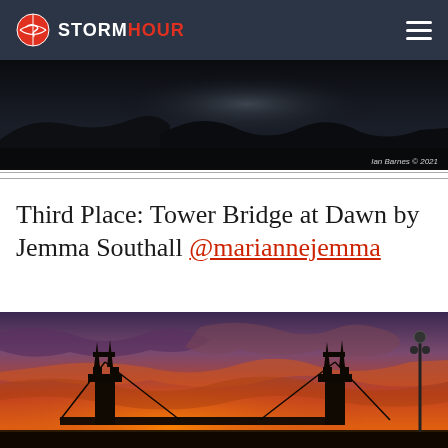STORMHOUR
[Figure (photo): Dark moody landscape photo of hills/mountains with stormy sky, credit: Ian Barnes © 2021]
Third Place: Tower Bridge at Dawn by Jemma Southall @mariannejemma
[Figure (photo): Dramatic dawn/sunset photo of Tower Bridge in London with vivid orange and purple cloudy sky]